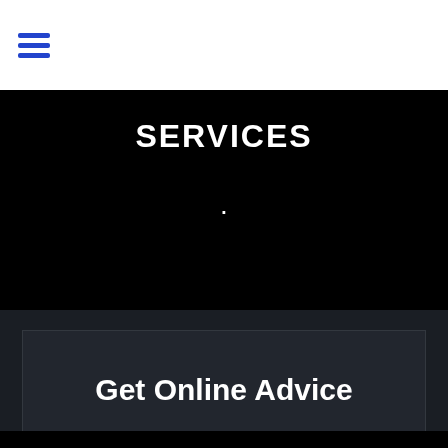Navigation hamburger menu icon
SERVICES
·
Get Online Advice
SOLVE MY HR ISSUES